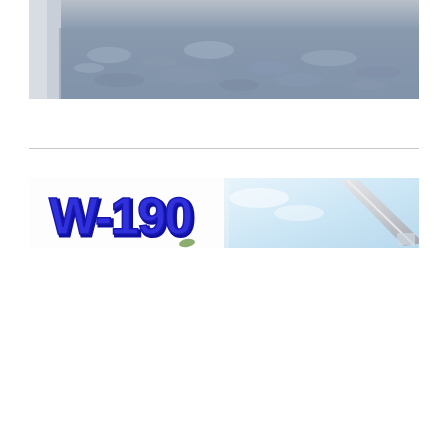[Figure (photo): Aerial photograph showing clouds and ocean/ground below from an aircraft window, with aircraft fuselage/wing partially visible on the left edge]
[Figure (illustration): Banner image with 'W-190' text in bold blue/purple lettering with dark outline on the left side, and a photo of what appears to be aircraft wing or railing against a blue sky on the right side]